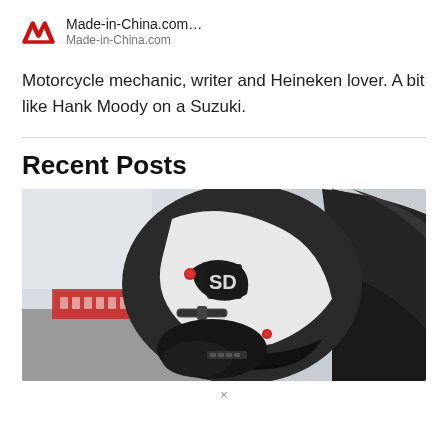Made-in-China.com… Made-in-China.com
Motorcycle mechanic, writer and Heineken lover. A bit like Hank Moody on a Suzuki.
Recent Posts
[Figure (photo): Close-up photo of motorcycle racing boots/gear on a bike, black and white boots with red accents, racetrack visible in background]
×